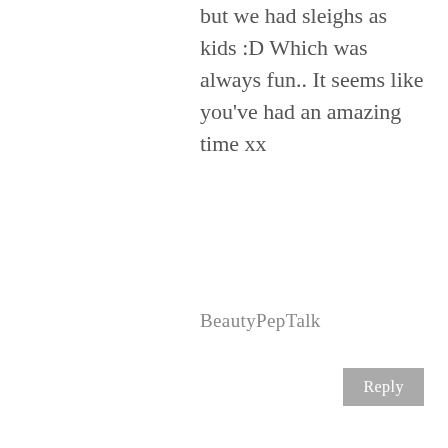but we had sleighs as kids :D Which was always fun.. It seems like you've had an amazing time xx
BeautyPepTalk
Reply
[Figure (photo): Circular avatar photo of a woman with long brown hair holding a cup, in a cafe setting]
JULIE KHUU | HAUTE KHUUTURE
July 26, 2016 at 12:21 PM
How fun! SoCal is so friggin hot right now I wish we had snow!